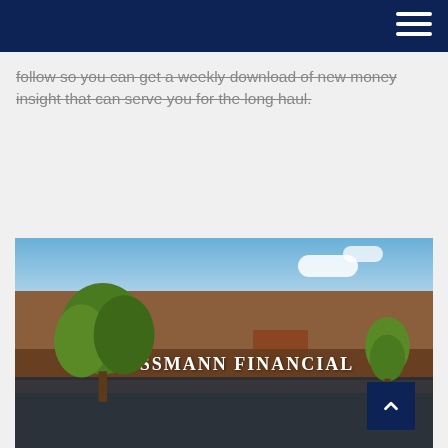Navigation bar with hamburger menu
follow  so you can get a weekly download of new money insight that can serve you for the long haul.
[Figure (photo): Exterior photograph of the Haussmann Financial office building — a multi-story brick building with 'HAUSSMANN FINANCIAL' signage on the facade, surrounded by trees under a partly cloudy blue sky. A dark navy scroll-to-top button with an upward chevron arrow is overlaid in the bottom-right corner.]